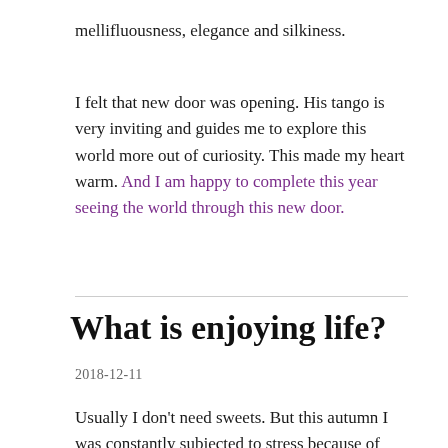mellifluousness, elegance and silkiness.
I felt that new door was opening. His tango is very inviting and guides me to explore this world more out of curiosity. This made my heart warm. And I am happy to complete this year seeing the world through this new door.
What is enjoying life?
2018-12-11
Usually I don't need sweets. But this autumn I was constantly subjected to stress because of noisy